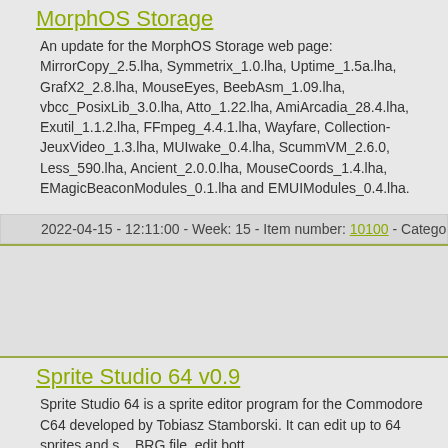MorphOS Storage
An update for the MorphOS Storage web page: MirrorCopy_2.5.lha, Symmetrix_1.0.lha, Uptime_1.5a.lha, GrafX2_2.8.lha, MouseEyes, BeebAsm_1.09.lha, vbcc_PosixLib_3.0.lha, Atto_1.22.lha, AmiArcadia_28.4.lha, Exutil_1.1.2.lha, FFmpeg_4.4.1.lha, Wayfare, Collection-JeuxVideo_1.3.lha, MUIwake_0.4.lha, ScummVM_2.6.0, Less_590.lha, Ancient_2.0.0.lha, MouseCoords_1.4.lha, EMagicBeaconModules_0.1.lha and EMUIModules_0.4.lha.
2022-04-15 - 12:11:00 - Week: 15 - Item number: 10100 - Categor
Sprite Studio 64 v0.9
Sprite Studio 64 is a sprite editor program for the Commodore C64 developed by Tobiasz Stamborski. It can edit up to 64 sprites and s... BRG file, edit bott...